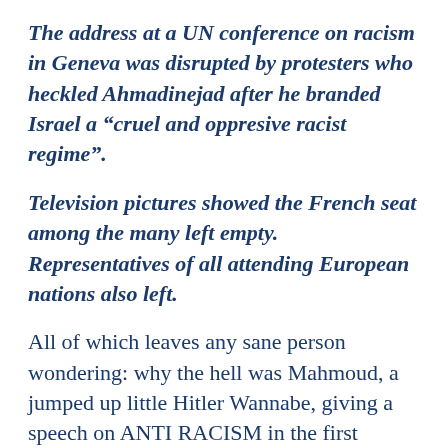The address at a UN conference on racism in Geneva was disrupted by protesters who heckled Ahmadinejad after he branded Israel a “cruel and oppresive racist regime”.
Television pictures showed the French seat among the many left empty. Representatives of all attending European nations also left.
All of which leaves any sane person wondering: why the hell was Mahmoud, a jumped up little Hitler Wannabe, giving a speech on ANTI RACISM in the first place???
This is a man who puts Christians in prison purely because they ARE Christians. Who